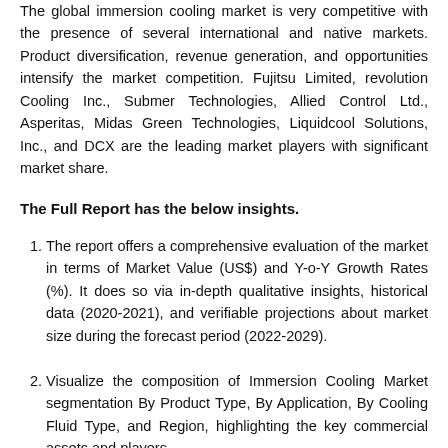The global immersion cooling market is very competitive with the presence of several international and native markets. Product diversification, revenue generation, and opportunities intensify the market competition. Fujitsu Limited, revolution Cooling Inc., Submer Technologies, Allied Control Ltd., Asperitas, Midas Green Technologies, Liquidcool Solutions, Inc., and DCX are the leading market players with significant market share.
The Full Report has the below insights.
The report offers a comprehensive evaluation of the market in terms of Market Value (US$) and Y-o-Y Growth Rates (%). It does so via in-depth qualitative insights, historical data (2020-2021), and verifiable projections about market size during the forecast period (2022-2029).
Visualize the composition of Immersion Cooling Market segmentation By Product Type, By Application, By Cooling Fluid Type, and Region, highlighting the key commercial assets and players.